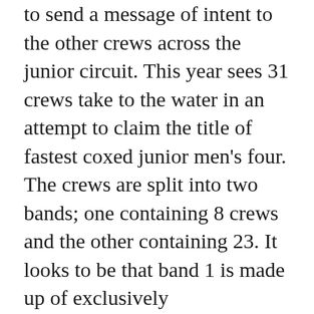to send a message of intent to the other crews across the junior circuit. This year sees 31 crews take to the water in an attempt to claim the title of fastest coxed junior men's four. The crews are split into two bands; one containing 8 crews and the other containing 23. It looks to be that band 1 is made up of exclusively 'championship' crews whilst band 2 has a whole range of different speeds. Whatever the layout, this event is sure to provide some exciting racing with a close grouping of times.
The entries in Band 1 come from 6 different schools with Radley college, Latymer Upper school, King's College School and St Paul's school all providing one crew whilst Shrewsbury and Westminster provide two fours each. It is likely that the schools